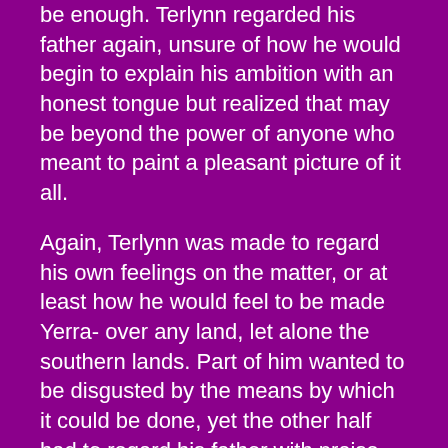be enough. Terlynn regarded his father again, unsure of how he would begin to explain his ambition with an honest tongue but realized that may be beyond the power of anyone who meant to paint a pleasant picture of it all.
Again, Terlynn was made to regard his own feelings on the matter, or at least how he would feel to be made Yerra- over any land, let alone the southern lands. Part of him wanted to be disgusted by the means by which it could be done, yet the other half had to regard his father with praise. After all, to unite even the south and central dominions would be a boast that none other could make. With the banners of the three great monarchs made one, the whole world would quake at their joint ambition. The north would not resist, and if they did, the caribou could only go on for so long. Imfay had always told his son of the harsh conditions in